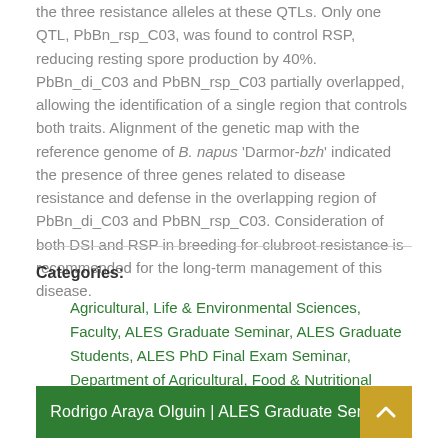the three resistance alleles at these QTLs. Only one QTL, PbBn_rsp_C03, was found to control RSP, reducing resting spore production by 40%. PbBn_di_C03 and PbBN_rsp_C03 partially overlapped, allowing the identification of a single region that controls both traits. Alignment of the genetic map with the reference genome of B. napus 'Darmor-bzh' indicated the presence of three genes related to disease resistance and defense in the overlapping region of PbBn_di_C03 and PbBN_rsp_C03. Consideration of both DSI and RSP in breeding for clubroot resistance is recommended for the long-term management of this disease.
Categories:
Agricultural, Life & Environmental Sciences, Faculty, ALES Graduate Seminar, ALES Graduate Students, ALES PhD Final Exam Seminar, Department of Agricultural, Food & Nutritional Science, Lectures & Seminars
Rodrigo Araya Olguin | ALES Graduate Seminar